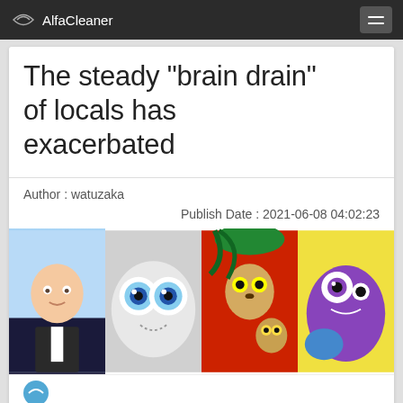AlfaCleaner
The steady "brain drain" of locals has exacerbated
Author : watuzaka
Publish Date : 2021-06-08 04:02:23
[Figure (photo): A collage of four animated cartoon characters side by side: Boss Baby (baby in suit), a white fluffy creature with large blue eyes, King Julien and a smaller lemur from Madagascar, and a purple cartoon monster.]